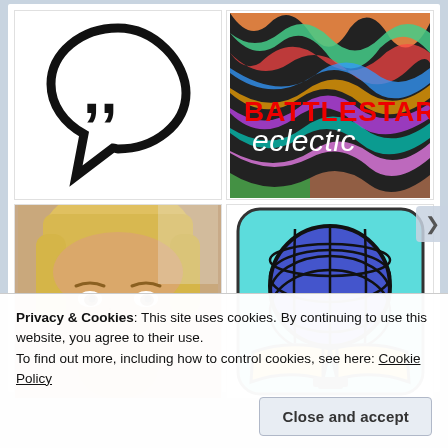[Figure (logo): Speech bubble with double quotation mark logo in black and white]
[Figure (logo): Battlestar Eclectic logo - colorful swirling background with red text BATTLESTAR and white italic text eclectic]
[Figure (photo): Close-up photo of a blonde woman looking slightly downward]
[Figure (logo): Globe on open book logo with blue globe and yellow book on cyan rounded square background]
Privacy & Cookies: This site uses cookies. By continuing to use this website, you agree to their use.
To find out more, including how to control cookies, see here: Cookie Policy
Close and accept